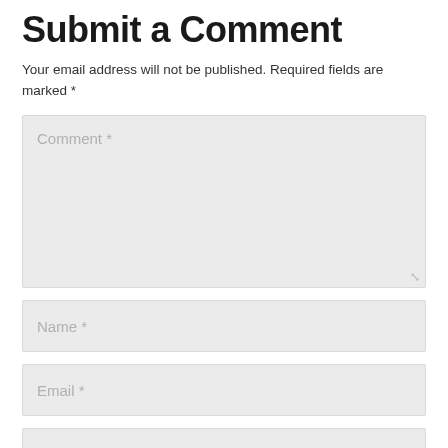Submit a Comment
Your email address will not be published. Required fields are marked *
[Figure (screenshot): Comment text area input field with placeholder text 'Comment *' and resize handle]
[Figure (screenshot): Name input field with placeholder text 'Name *']
[Figure (screenshot): Email input field with placeholder text 'Email *']
[Figure (screenshot): Website input field with placeholder text 'Website']